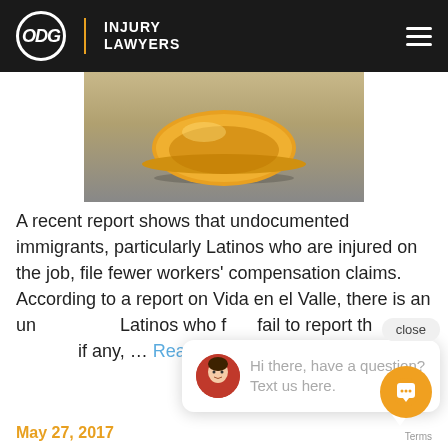ODG | INJURY LAWYERS
[Figure (photo): Yellow construction hard hat lying on its side on a gray floor]
A recent report shows that undocumented immigrants, particularly Latinos who are injured on the job, file fewer workers' compensation claims. According to a report on Vida en el Valle, there is an un... Latinos who f... fail to report th... if any, ... Read More
Hi there, have a question? Text us here.
May 27, 2017